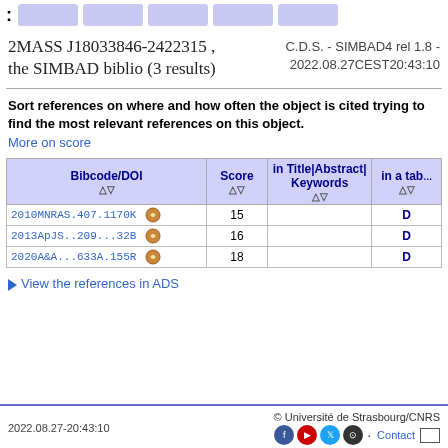:
2MASS J18033846-2422315 , the SIMBAD biblio (3 results)
C.D.S. - SIMBAD4 rel 1.8 - 2022.08.27CEST20:43:10
Sort references on where and how often the object is cited trying to find the most relevant references on this object.
More on score
| Bibcode/DOI | Score | in Title|Abstract|Keywords | in a tabl |
| --- | --- | --- | --- |
| 2010MNRAS.407.1170K | 15 |  | D |
| 2013ApJS..209...32B | 16 |  | D |
| 2020A&A...633A.155R | 18 |  | D |
View the references in ADS
2022.08.27-20:43:10   © Université de Strasbourg/CNRS   Contact